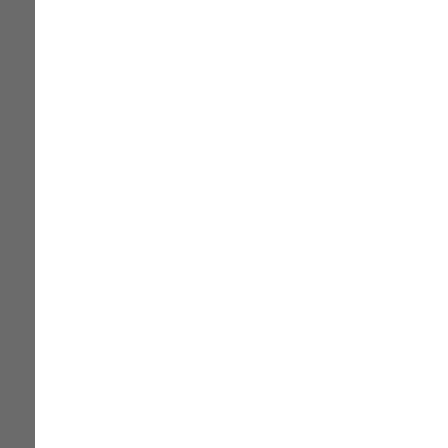server for IP addresses.
W9 A Warp9 Whois Plugin - Plugin for IE browser; Get Whois info with a push on the button ; Supports multiple TLDs;
Active Whois Browser - ActiveWhois returns important information on websites and IRC/Instant Message/chat nicknames or attacking hackers. Locate